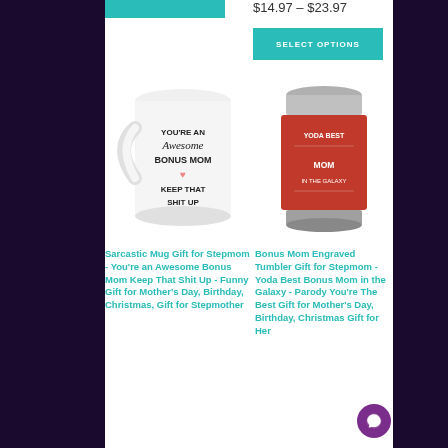$14.97 – $23.97
SELECT OPTIONS
[Figure (photo): White ceramic coffee mug with text: YOU'RE AN Awesome BONUS MOM heart KEEP THAT SHIT UP]
[Figure (photo): Red engraved tumbler with text: YODA BEST MOM IN THE GALAXY]
Sarcastic Mug Gift for Stepmom - You're an Awesome Bonus Mom Keep That Shit Up - Funny Gift for Mother's Day, Birthday, Christmas, Gift for Stepmother
Bonus Mom Engraved Tumbler Gift for Stepmom - Yoda Best Bonus Mom in the Galaxy - Parody You're The Best Gift for Mother's Day, Birthday, Christmas Gift for Her